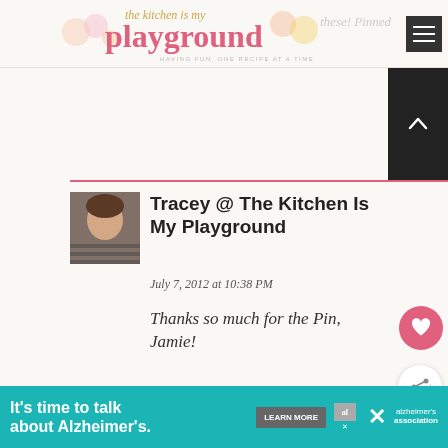The Kitchen Is My Playground — these! Pinned
[Figure (screenshot): Scroll-up button, dark background with up chevron]
Tracey @ The Kitchen Is My Playground
July 7, 2012 at 10:38 PM
Thanks so much for the Pin, Jamie!
Jen @JuanitasCocina
July 7, 2012 at 2:53 PM
[Figure (infographic): WHAT'S NEXT arrow — Honey-Vanilla Granola ... &...]
It's time to talk about Alzheimer's.